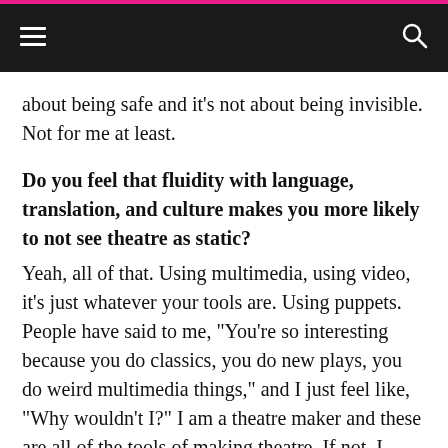Navigation bar with hamburger menu and search icon
about being safe and it’s not about being invisible. Not for me at least.
Do you feel that fluidity with language, translation, and culture makes you more likely to not see theatre as static?
Yeah, all of that. Using multimedia, using video, it’s just whatever your tools are. Using puppets. People have said to me, “You’re so interesting because you do classics, you do new plays, you do weird multimedia things,” and I just feel like, “Why wouldn’t I?” I am a theatre maker and these are all of the tools of making theatre. If not, I would get very bored very quickly. You just constantly have to be pushing yourself. We’re living in a world where technology is constantly raising ahead, and you have